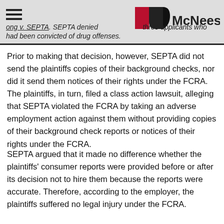…ong v. SEPTA. SEPTA denied … three applicants who had been convicted of drug offenses.
Prior to making that decision, however, SEPTA did not send the plaintiffs copies of their background checks, nor did it send them notices of their rights under the FCRA.  The plaintiffs, in turn, filed a class action lawsuit, alleging that SEPTA violated the FCRA by taking an adverse employment action against them without providing copies of their background check reports or notices of their rights under the FCRA.
SEPTA argued that it made no difference whether the plaintiffs' consumer reports were provided before or after its decision not to hire them because the reports were accurate.  Therefore, according to the employer, the plaintiffs suffered no legal injury under the FCRA.